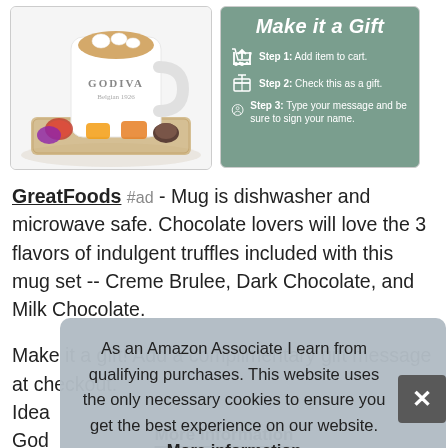[Figure (photo): Godiva hot chocolate mug with chocolates and truffles on a tray]
[Figure (infographic): Make it a Gift - 3 steps: Step 1 Add item to cart, Step 2 Check this as a gift, Step 3 Type your message and be sure to sign your name. Green background with white icons.]
GreatFoods #ad - Mug is dishwasher and microwave safe. Chocolate lovers will love the 3 flavors of indulgent truffles included with this mug set -- Creme Brulee, Dark Chocolate, and Milk Chocolate.
Make it a gift! Add a complimentary gift message at checkout. Idea...God...whit...
As an Amazon Associate I earn from qualifying purchases. This website uses the only necessary cookies to ensure you get the best experience on our website. More information
More information